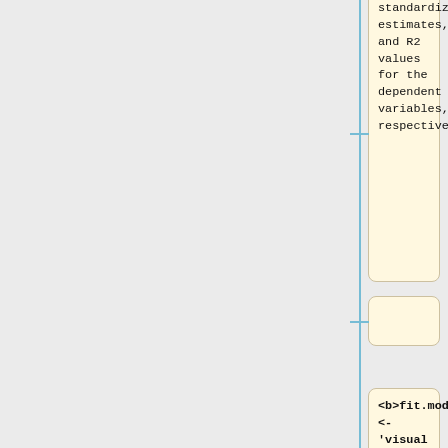standardized estimates, and R2 values for the dependent variables, respectively
<b>fit.model <- 'visual =~ x1 + x2 + x3
textual =~ x4 + x5 + x6
speed =~ x7 + x8 + x9'
fit <- cfa(fit.model, data = HolzingerSwineford1939)